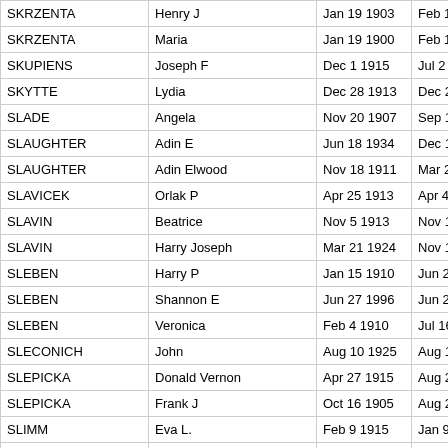| Last Name | First Name | Birth Date | Death Date |
| --- | --- | --- | --- |
| SKRZENTA | Henry J | Jan 19 1903 | Feb 17 1984 |
| SKRZENTA | Maria | Jan 19 1900 | Feb 1 1996 |
| SKUPIENS | Joseph F | Dec 1 1915 | Jul 2 1984 |
| SKYTTE | Lydia | Dec 28 1913 | Dec 20 1995 |
| SLADE | Angela | Nov 20 1907 | Sep 18 1997 |
| SLAUGHTER | Adin E | Jun 18 1934 | Dec 12 1998 |
| SLAUGHTER | Adin Elwood | Nov 18 1911 | Mar 21 1998 |
| SLAVICEK | Orlak P | Apr 25 1913 | Apr 4 1995 |
| SLAVIN | Beatrice | Nov 5 1913 | Nov 10 1997 |
| SLAVIN | Harry Joseph | Mar 21 1924 | Nov 14 1989 |
| SLEBEN | Harry P | Jan 15 1910 | Jun 27 1996 |
| SLEBEN | Shannon E | Jun 27 1996 | Jun 27 1996 |
| SLEBEN | Veronica | Feb 4 1910 | Jul 16 1993 |
| SLECONICH | John | Aug 10 1925 | Aug 13 1998 |
| SLEPICKA | Donald Vernon | Apr 27 1915 | Aug 2 1996 |
| SLEPICKA | Frank J | Oct 16 1905 | Aug 2 1996 |
| SLIMM | Eva L. | Feb 9 1915 | Jan 9 1998 |
| SLOKIN | Shirley D | Sep 6 1922 | Dec 4 1997 |
| SLONECKER | David | Nov 23 1909 | Jun 14 1995 |